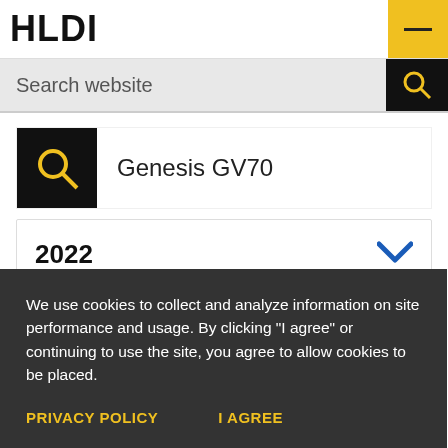HLDI
Search website
Genesis GV70
2022
We use cookies to collect and analyze information on site performance and usage. By clicking "I agree" or continuing to use the site, you agree to allow cookies to be placed.
PRIVACY POLICY
I AGREE